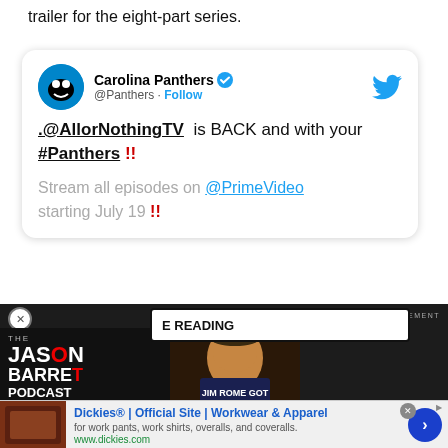trailer for the eight-part series.
[Figure (screenshot): Embedded tweet from @Panthers (Carolina Panthers) with verified badge. Tweet text: '.@AllorNothingTV is BACK and with your #Panthers !! Stream all episodes on @PrimeVideo starting July 19 !!']
[Figure (screenshot): Overlapping advertisement for The Jason Barrett Podcast showing Jim Rome and ad banner for Dickies Official Site]
Dickies® | Official Site | Workwear & Apparel
for work pants, work shirts, overalls, and coveralls.
www.dickies.com